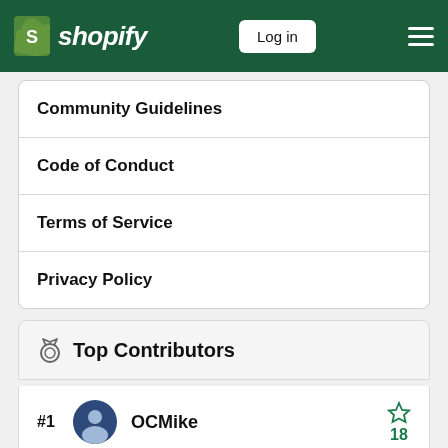Shopify — Log in
Community Guidelines
Code of Conduct
Terms of Service
Privacy Policy
Top Contributors
#1  OCMike  18